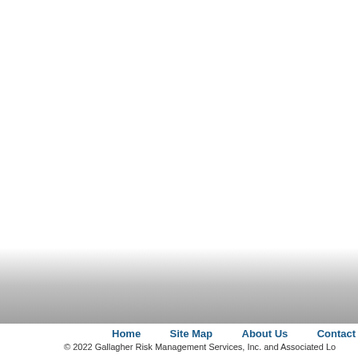Home   Site Map   About Us   Contact Us
© 2022 Gallagher Risk Management Services, Inc. and Associated Lo...